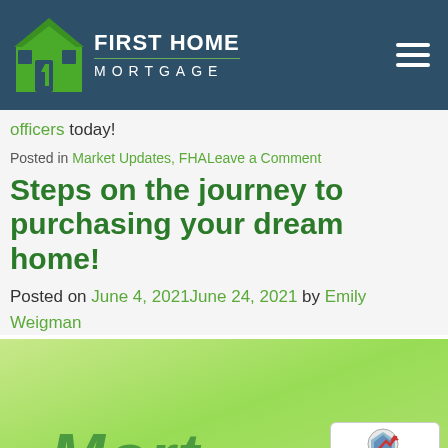FIRST HOME MORTGAGE
officers today!
Posted in Market Updates, FHALeave a Comment
Steps on the journey to purchasing your dream home!
Posted on June 4, 2021June 24, 2021 by Emily Weigman
[Figure (photo): Green background image with 'Mort' text visible at bottom, partial mortgage-related banner image]